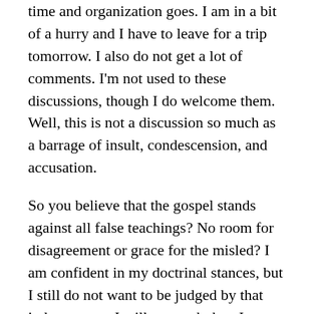time and organization goes. I am in a bit of a hurry and I have to leave for a trip tomorrow. I also do not get a lot of comments. I'm not used to these discussions, though I do welcome them. Well, this is not a discussion so much as a barrage of insult, condescension, and accusation.
So you believe that the gospel stands against all false teachings? No room for disagreement or grace for the misled? I am confident in my doctrinal stances, but I still do not want to be judged by that judgement so I will not push that. I agree that in the end, there will be no false things in the Kingdom of God and we should work towards that end. I do stand against false teachings but I do not want to accuse Christians of not being Christians because they have a false teaching. If I had to judge between someone who had a secondary issue wrong but was patient with their brethren and one who had the teaching right but was condemning of others, I would say